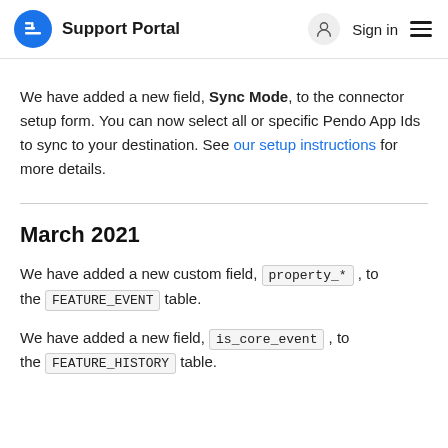Support Portal  Sign in
We have added a new field, Sync Mode, to the connector setup form. You can now select all or specific Pendo App Ids to sync to your destination. See our setup instructions for more details.
March 2021
We have added a new custom field, property_* , to the FEATURE_EVENT table.
We have added a new field, is_core_event , to the FEATURE_HISTORY table.